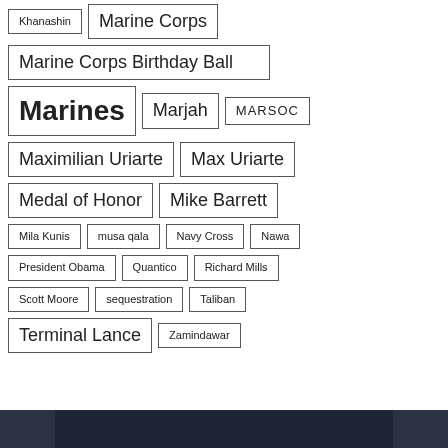Khanashin
Marine Corps
Marine Corps Birthday Ball
Marines
Marjah
MARSOC
Maximilian Uriarte
Max Uriarte
Medal of Honor
Mike Barrett
Mila Kunis
musa qala
Navy Cross
Nawa
President Obama
Quantico
Richard Mills
Scott Moore
sequestration
Taliban
Terminal Lance
Zamindawar